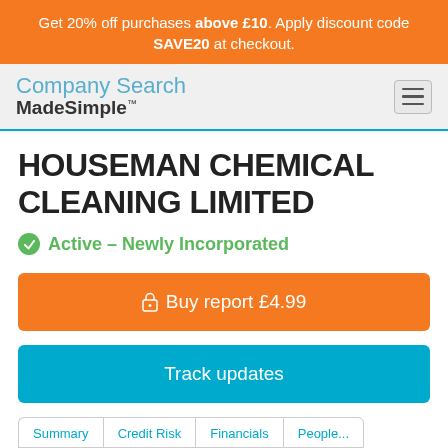Get 20% off purchases above £10. Apply discount code SAVE20 at checkout.
[Figure (logo): Company Search MadeSimple logo with hamburger menu icon]
HOUSEMAN CHEMICAL CLEANING LIMITED
Active – Newly Incorporated
Buy report £4.99
Track updates